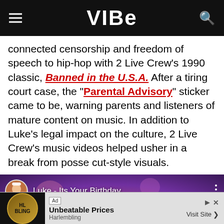VIBE
connected censorship and freedom of speech to hip-hop with 2 Live Crew's 1990 classic, Banned in the U.S.A. After a tiring court case, the "Parental Advisory" sticker came to be, warning parents and listeners of mature content on music. In addition to Luke's legal impact on the culture, 2 Live Crew's music videos helped usher in a break from posse cut-style visuals.
[Figure (screenshot): YouTube video embed thumbnail for 'Luke - Its Your Birthday' with channel avatar, video title overlay on a purple/pink bokeh background, and three-dot menu icon.]